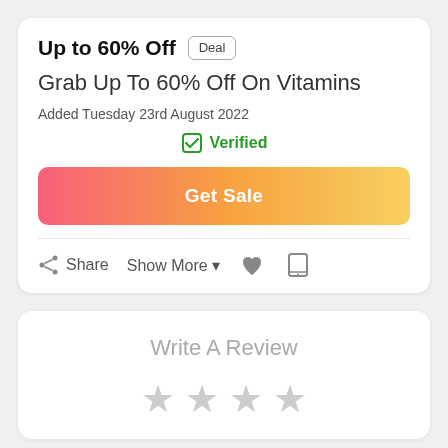Up to 60% Off Deal
Grab Up To 60% Off On Vitamins
Added Tuesday 23rd August 2022
Verified
Get Sale
Share Show More ▾
Write A Review